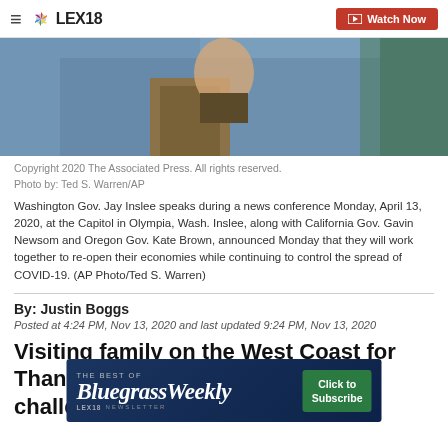LEX18 | Watch Now
[Figure (photo): Washington Gov. Jay Inslee speaks at a podium during a news conference, with state flag in background]
Copyright 2020 The Associated Press. All rights reserved.
Photo by: Ted S. Warren/AP

Washington Gov. Jay Inslee speaks during a news conference Monday, April 13, 2020, at the Capitol in Olympia, Wash. Inslee, along with California Gov. Gavin Newsom and Oregon Gov. Kate Brown, announced Monday that they will work together to re-open their economies while continuing to control the spread of COVID-19. (AP Photo/Ted S. Warren)
By: Justin Boggs
Posted at 4:24 PM, Nov 13, 2020 and last updated 9:24 PM, Nov 13, 2020
Visiting family on the West Coast for Thanksgiving week...
[Figure (screenshot): The Best of Bluegrass Weekly Newsletter advertisement banner - Click to Subscribe]